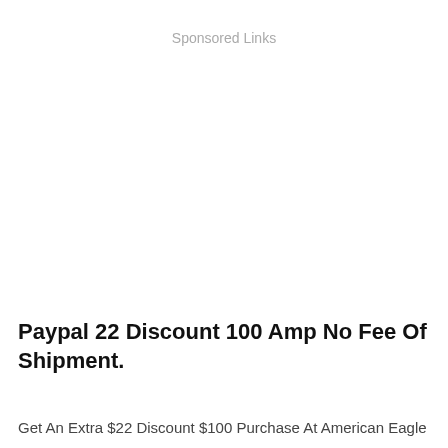Sponsored Links
Paypal 22 Discount 100 Amp No Fee Of Shipment.
Get An Extra $22 Discount $100 Purchase At American Eagle